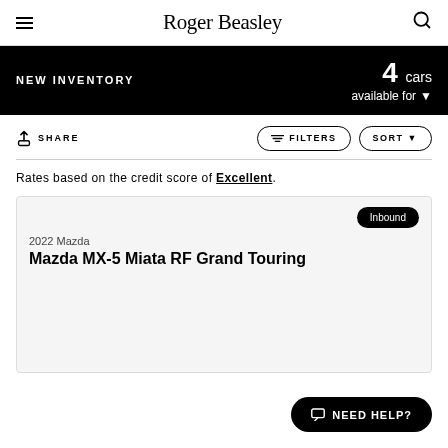Roger Beasley
NEW INVENTORY — 4 cars available for
SHARE | FILTERS | SORT
Rates based on the credit score of Excellent.
Inbound
2022 Mazda
Mazda MX-5 Miata RF Grand Touring
NEED HELP?